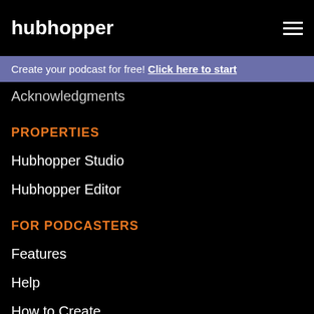hubhopper
Create your podcast for free! Click here to start
Acknowledgments
PROPERTIES
Hubhopper Studio
Hubhopper Editor
FOR PODCASTERS
Features
Help
How to Create